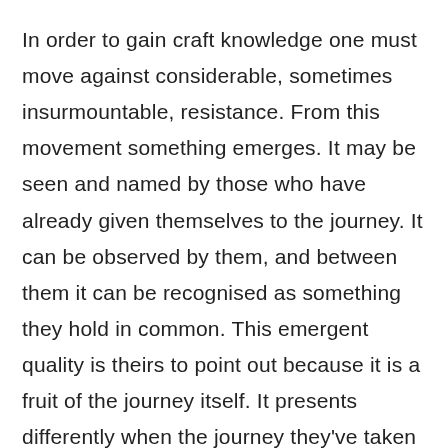In order to gain craft knowledge one must move against considerable, sometimes insurmountable, resistance. From this movement something emerges. It may be seen and named by those who have already given themselves to the journey. It can be observed by them, and between them it can be recognised as something they hold in common. This emergent quality is theirs to point out because it is a fruit of the journey itself. It presents differently when the journey they've taken is successful and when it is not, but it is visible in both cases.